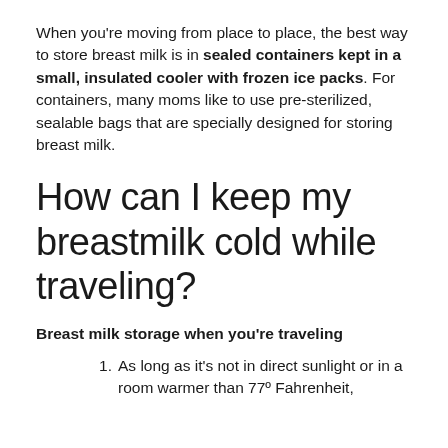When you're moving from place to place, the best way to store breast milk is in sealed containers kept in a small, insulated cooler with frozen ice packs. For containers, many moms like to use pre-sterilized, sealable bags that are specially designed for storing breast milk.
How can I keep my breastmilk cold while traveling?
Breast milk storage when you're traveling
As long as it's not in direct sunlight or in a room warmer than 77º Fahrenheit,